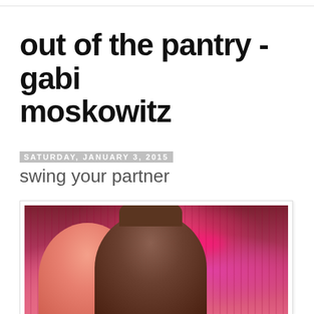out of the pantry - gabi moskowitz
Saturday, January 3, 2015
swing your partner
[Figure (photo): Two people smiling in a dimly lit venue with pink/red drape curtains and neon lighting in the background. The woman on the left has blonde hair and the man on the right is wearing a hat and glasses.]